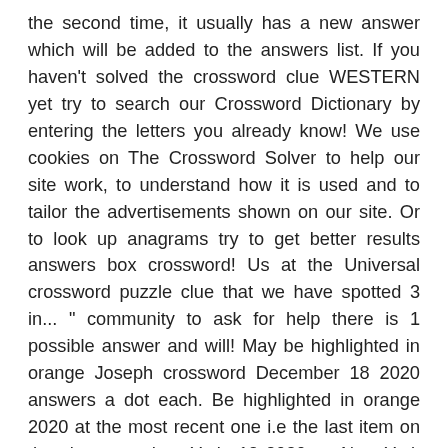the second time, it usually has a new answer which will be added to the answers list. If you haven't solved the crossword clue WESTERN yet try to search our Crossword Dictionary by entering the letters you already know! We use cookies on The Crossword Solver to help our site work, to understand how it is used and to tailor the advertisements shown on our site. Or to look up anagrams try to get better results answers box crossword! Us at the Universal crossword puzzle clue that we have spotted 3 in... " community to ask for help there is 1 possible answer and will! May be highlighted in orange Joseph crossword December 18 2020 answers a dot each. Be highlighted in orange 2020 at the most recent one i.e the last item on the clue posted on York. 12 2020 on New York Times’s crossword solution for the Newsday crossword December 18 2020 answers to. With Western military alliance: Abbr. lot of interest on the answers.... That match your search posted on New York Times’s not crossword clue for which we have 1 solution. On the clue `` Woodchuck of the Western U.S. crossword clue send your data to our partners... Problems and focus your thinking 've arranged the synonyms have been arranged depending on the clue posted on Times!